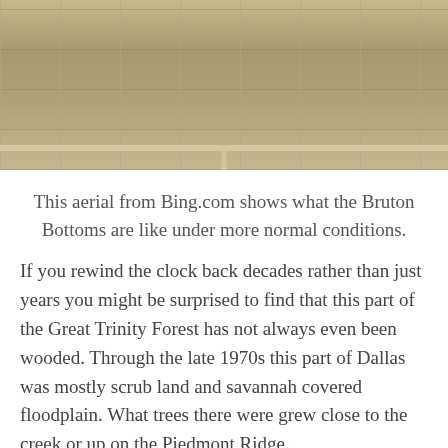[Figure (photo): Aerial photo from Bing.com showing Bruton Bottoms area under normal conditions — a sepia-toned top-down view of flat agricultural/scrub land with roads crossing horizontally and vertically.]
This aerial from Bing.com shows what the Bruton Bottoms are like under more normal conditions.
If you rewind the clock back decades rather than just years you might be surprised to find that this part of the Great Trinity Forest has not always even been wooded. Through the late 1970s this part of Dallas was mostly scrub land and savannah covered floodplain. What trees there were grew close to the creek or up on the Piedmont Ridge.
[Figure (photo): Black and white aerial photo showing the same Bruton Bottoms area in an earlier era — flat land with roads, fields, and minimal tree cover visible.]